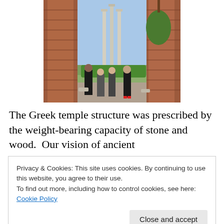[Figure (photo): Tourists visiting ancient Roman ruins, with three standing columns visible in the background against a blue sky, surrounded by brick archways and greenery.]
The Greek temple structure was prescribed by the weight-bearing capacity of stone and wood.  Our vision of ancient
Privacy & Cookies: This site uses cookies. By continuing to use this website, you agree to their use.
To find out more, including how to control cookies, see here: Cookie Policy
roof beams would have been. Continue reading →